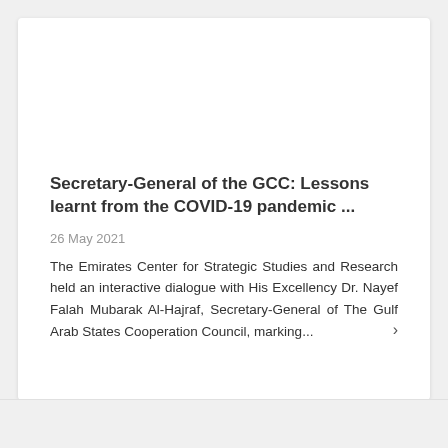Secretary-General of the GCC: Lessons learnt from the COVID-19 pandemic ...
26 May 2021
The Emirates Center for Strategic Studies and Research held an interactive dialogue with His Excellency Dr. Nayef Falah Mubarak Al-Hajraf, Secretary-General of The Gulf Arab States Cooperation Council, marking...